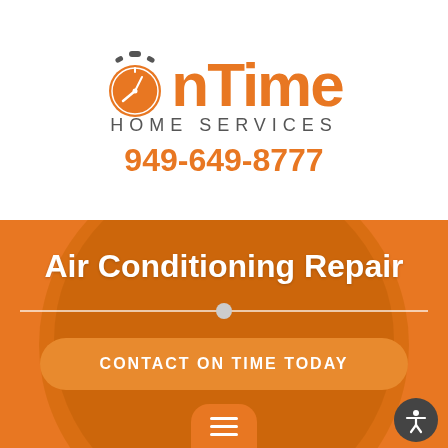[Figure (logo): OnTime Home Services logo with orange stopwatch icon, large orange 'OnTime' text, gray 'HOME SERVICES' subtitle, and orange phone number 949-649-8777]
[Figure (photo): Orange-tinted banner section with people in background, large white text 'Air Conditioning Repair', horizontal divider line with center dot, and a 'CONTACT ON TIME TODAY' call-to-action button in orange rounded rectangle]
Air Conditioning Repair
CONTACT ON TIME TODAY